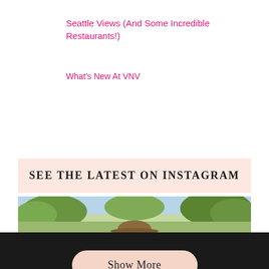Seattle Views (And Some Incredible Restaurants!)
What's New At VNV
SEE THE LATEST ON INSTAGRAM
[Figure (photo): Outdoor photo showing green trees and person wearing a wide-brim hat, partially cropped]
Show More